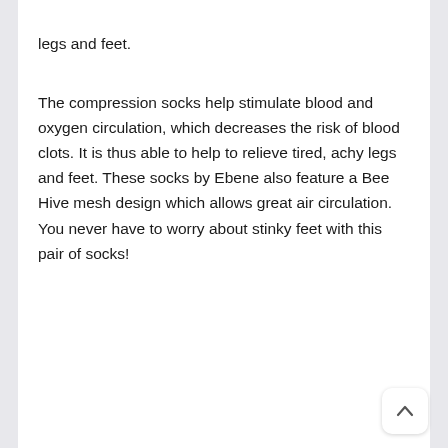of standing and sitting and relieve tired achy legs and feet.
The compression socks help stimulate blood and oxygen circulation, which decreases the risk of blood clots. It is thus able to help to relieve tired, achy legs and feet. These socks by Ebene also feature a Bee Hive mesh design which allows great air circulation. You never have to worry about stinky feet with this pair of socks!